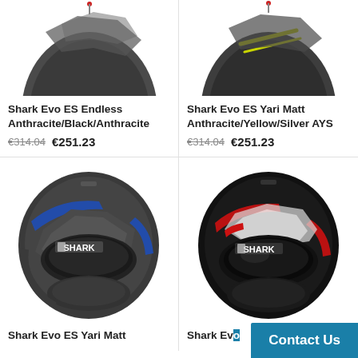[Figure (photo): Shark Evo ES Endless Anthracite/Black/Anthracite helmet, top portion cropped, dark gray with geometric design]
[Figure (photo): Shark Evo ES Yari Matt Anthracite/Yellow/Silver AYS helmet, top portion cropped, dark with yellow stripe design]
Shark Evo ES Endless Anthracite/Black/Anthracite
€314.04  €251.23
Shark Evo ES Yari Matt Anthracite/Yellow/Silver AYS
€314.04  €251.23
[Figure (photo): Shark Evo ES Yari Matt helmet, dark anthracite with blue accent stripes, SHARK logo visible]
[Figure (photo): Shark Evo ES helmet, black with red and white accent stripes, SHARK logo visible]
Shark Evo ES Yari Matt
Shark Evo
Contact Us